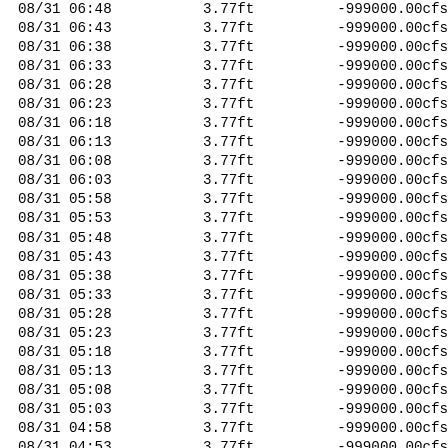| 08/31 06:48 | 3.77ft | -999000.00cfs |
| 08/31 06:43 | 3.77ft | -999000.00cfs |
| 08/31 06:38 | 3.77ft | -999000.00cfs |
| 08/31 06:33 | 3.77ft | -999000.00cfs |
| 08/31 06:28 | 3.77ft | -999000.00cfs |
| 08/31 06:23 | 3.77ft | -999000.00cfs |
| 08/31 06:18 | 3.77ft | -999000.00cfs |
| 08/31 06:13 | 3.77ft | -999000.00cfs |
| 08/31 06:08 | 3.77ft | -999000.00cfs |
| 08/31 06:03 | 3.77ft | -999000.00cfs |
| 08/31 05:58 | 3.77ft | -999000.00cfs |
| 08/31 05:53 | 3.77ft | -999000.00cfs |
| 08/31 05:48 | 3.77ft | -999000.00cfs |
| 08/31 05:43 | 3.77ft | -999000.00cfs |
| 08/31 05:38 | 3.77ft | -999000.00cfs |
| 08/31 05:33 | 3.77ft | -999000.00cfs |
| 08/31 05:28 | 3.77ft | -999000.00cfs |
| 08/31 05:23 | 3.77ft | -999000.00cfs |
| 08/31 05:18 | 3.77ft | -999000.00cfs |
| 08/31 05:13 | 3.77ft | -999000.00cfs |
| 08/31 05:08 | 3.77ft | -999000.00cfs |
| 08/31 05:03 | 3.77ft | -999000.00cfs |
| 08/31 04:58 | 3.77ft | -999000.00cfs |
| 08/31 04:53 | 3.77ft | -999000.00cfs |